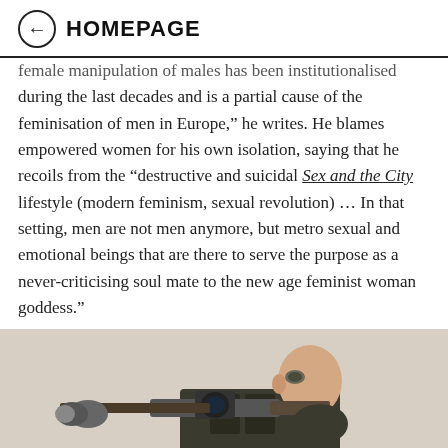← HOMEPAGE
female manipulation of males has been institutionalised during the last decades and is a partial cause of the feminisation of men in Europe," he writes. He blames empowered women for his own isolation, saying that he recoils from the "destructive and suicidal Sex and the City lifestyle (modern feminism, sexual revolution) … In that setting, men are not men anymore, but metro sexual and emotional beings that are there to serve the purpose as a never-criticising soul mate to the new age feminist woman goddess."
[Figure (photo): A man aiming a rifle with a scope, wearing a dark tactical vest, photographed from the side at close range.]